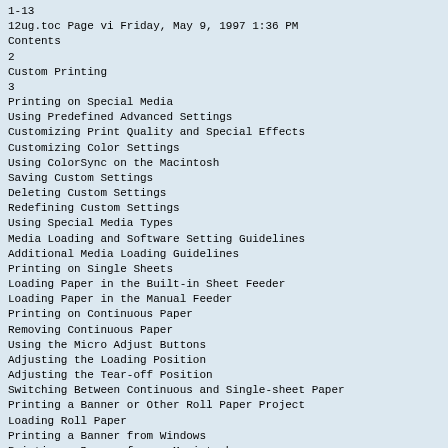1-13
12ug.toc Page vi Friday, May 9, 1997 1:36 PM
Contents
2
Custom Printing
3
Printing on Special Media
Using Predefined Advanced Settings
Customizing Print Quality and Special Effects
Customizing Color Settings
Using ColorSync on the Macintosh
Saving Custom Settings
Deleting Custom Settings
Redefining Custom Settings
Using Special Media Types
Media Loading and Software Setting Guidelines
Additional Media Loading Guidelines
Printing on Single Sheets
Loading Paper in the Built-in Sheet Feeder
Loading Paper in the Manual Feeder
Printing on Continuous Paper
Removing Continuous Paper
Using the Micro Adjust Buttons
Adjusting the Loading Position
Adjusting the Tear-off Position
Switching Between Continuous and Single-sheet Paper
Printing a Banner or Other Roll Paper Project
Loading Roll Paper
Printing a Banner from Windows
Printing a Banner from a Macintosh
Removing a Printed Banner
Printing a Backlit Display
Loading Back Light Film